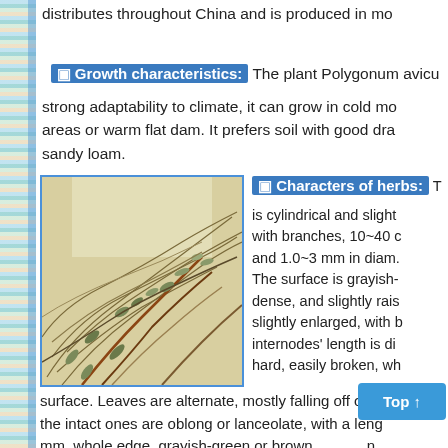distributes throughout China and is produced in mo
Growth characteristics:
The plant Polygonum aviculare has strong adaptability to climate, it can grow in cold mountain areas or warm flat dam. It prefers soil with good drainage, sandy loam.
[Figure (photo): Photograph of dried Polygonum aviculare herb, showing tangled dry stems and leaves in brown and grayish-green colors, displayed in a blue-bordered frame.]
Characters of herbs:
The stem is cylindrical and slightly flattened with branches, 10~40 cm in length and 1.0~3 mm in diameter. The surface is grayish-green, dense, and slightly raised, slightly enlarged, with branches; internodes' length is different. It is hard, easily broken, with white surface. Leaves are alternate, mostly falling off or shrunken, the intact ones are oblong or lanceolate, with a length of mm, whole edge, grayish-green or brownish-green. A persistent perianth can be seen, the achene is dark, has a slight odor, it tastes slightly bitter. The herb of grayish-green.